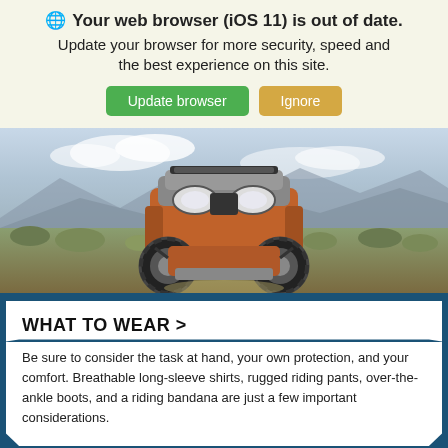🌐 Your web browser (iOS 11) is out of date. Update your browser for more security, speed and the best experience on this site.
Update browser | Ignore
[Figure (photo): Front view of an orange and black ATV/UTV vehicle on a desert trail with brush and mountains in the background]
WHAT TO WEAR >
Be sure to consider the task at hand, your own protection, and your comfort. Breathable long-sleeve shirts, rugged riding pants, over-the-ankle boots, and a riding bandana are just a few important considerations.
[Figure (photo): Partial view of a mountain landscape with trees and rocky terrain]